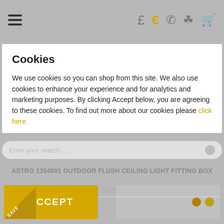☰  £  €  📞  👤  🛒
[Figure (logo): O Briens Lighting logo with sun rays graphic]
Cookies
We use cookies so you can shop from this site. We also use cookies to enhance your experience and for analytics and marketing purposes. By clicking Accept below, you are agreeing to these cookies. To find out more about our cookies please click here.
ASTRO 1354001 OUTDOOR FLUSH CEILING LIGHT FITTING BOX
CF7532